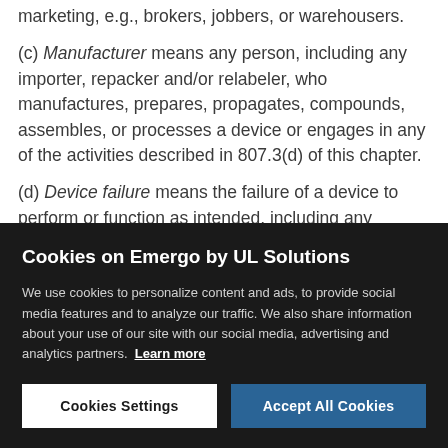marketing, e.g., brokers, jobbers, or warehousers.
(c) Manufacturer means any person, including any importer, repacker and/or relabeler, who manufactures, prepares, propagates, compounds, assembles, or processes a device or engages in any of the activities described in 807.3(d) of this chapter.
(d) Device failure means the failure of a device to perform or function as intended, including any
Cookies on Emergo by UL Solutions
We use cookies to personalize content and ads, to provide social media features and to analyze our traffic. We also share information about your use of our site with our social media, advertising and analytics partners. Learn more